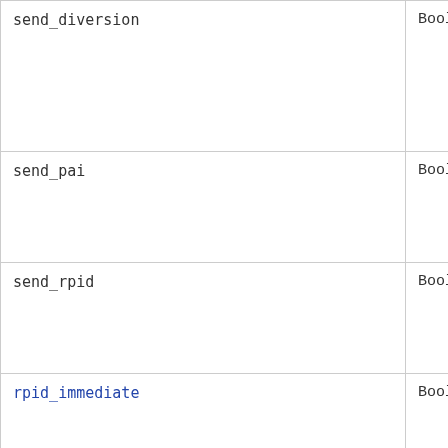| Name | Type | Default |
| --- | --- | --- |
| send_diversion | Boolean | yes |
| send_pai | Boolean | no |
| send_rpid | Boolean | no |
| rpid_immediate | Boolean | no |